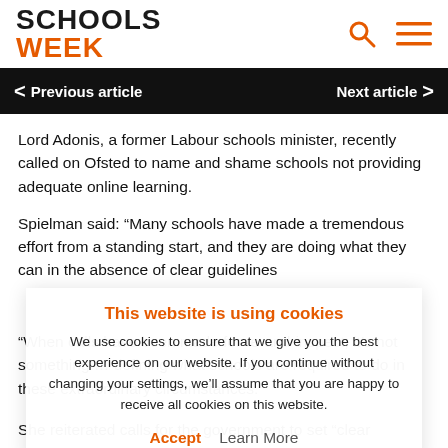SCHOOLS WEEK
Previous article | Next article
Lord Adonis, a former Labour schools minister, recently called on Ofsted to name and shame schools not providing adequate online learning.
Spielman said: “Many schools have made a tremendous effort from a standing start, and they are doing what they can in the absence of clear guidelines
“When calls have been made for re-and-inspect, it’s not something … defining what schools are required to do in these extraordinary circumstances.
This website is using cookies
We use cookies to ensure that we give you the best experience on our website. If you continue without changing your settings, we’ll assume that you are happy to receive all cookies on this website.
Accept Learn More
She reiterated calls for the government to set “clear